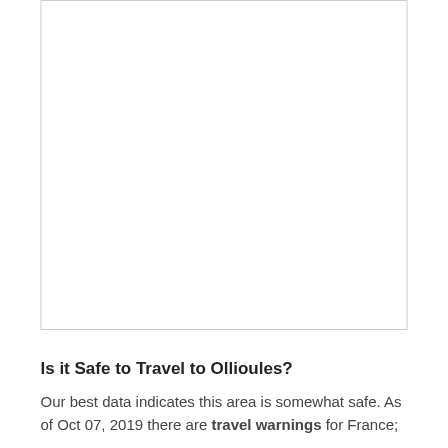[Figure (other): Empty white framed image area, likely a map placeholder for Ollioules, France.]
Is it Safe to Travel to Ollioules?
Our best data indicates this area is somewhat safe. As of Oct 07, 2019 there are travel warnings for France;